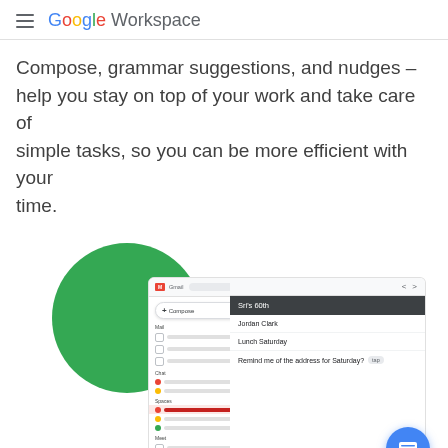Google Workspace
Compose, grammar suggestions, and nudges – help you stay on top of your work and take care of simple tasks, so you can be more efficient with your time.
[Figure (screenshot): Gmail interface screenshot showing the Gmail app with a green circle logo background, yellow accent shape, Gmail sidebar with Compose button and mail/chat/spaces/meet sections, and an open email thread panel showing subject 'Sri's 60th', senders 'Jordan Clark' and 'Lunch Saturday', and a nudge prompt 'Remind me of the address for Saturday?' with a Reply button. A blue chat support button appears in the bottom right.]